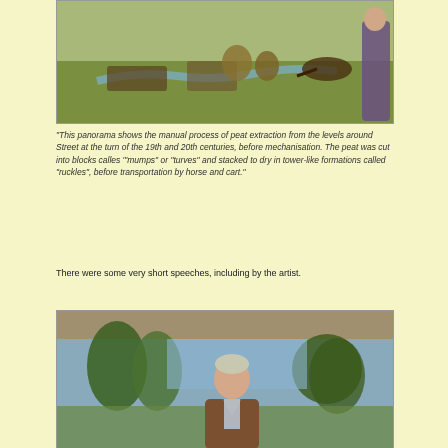[Figure (photo): Panoramic mural showing manual peat extraction scene with horses and cart in a rural landscape, with a person standing beside it]
“This panorama shows the manual process of peat extraction from the levels around Street at the turn of the 19th and 20th centuries, before mechanisation. The peat was cut into blocks calles ‘”mumps” or “turves” and stacked to dry in tower-like formations called “ruckles”, before transportation by horse and cart.”
There were some very short speeches, including by the artist.
[Figure (photo): A man standing in front of a large mural painting depicting trees and a landscape scene, appearing to give a speech]